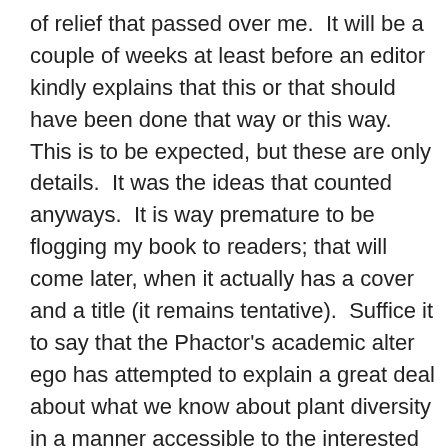of relief that passed over me.  It will be a couple of weeks at least before an editor kindly explains that this or that should have been done that way or this way.  This is to be expected, but these are only details.  It was the ideas that counted anyways.  It is way premature to be flogging my book to readers; that will come later, when it actually has a cover and a title (it remains tentative).  Suffice it to say that the Phactor's academic alter ego has attempted to explain a great deal about what we know about plant diversity in a manner accessible to the interested amateur, which is very different from most botany books.  So botany textbook it is not.  Now to go and update my CV and indicate the status as "In press", which is sort of more impressive than "manuscript in limbo" or "manuscript progress incredibly slow" or one of the many other euphemisms for "not published".  Actually it has been accepted for publication.  The next task is to clear enough of the